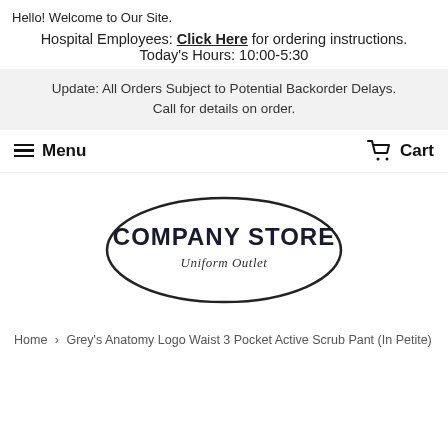Hello! Welcome to Our Site.
Hospital Employees: Click Here for ordering instructions.
Today's Hours: 10:00-5:30
Update: All Orders Subject to Potential Backorder Delays. Call for details on order.
☰ Menu    🛒 Cart
[Figure (logo): Company Store Uniform Outlet logo — oval border with bold text 'COMPANY STORE' and italic script 'Uniform Outlet' beneath]
Home › Grey's Anatomy Logo Waist 3 Pocket Active Scrub Pant (In Petite)